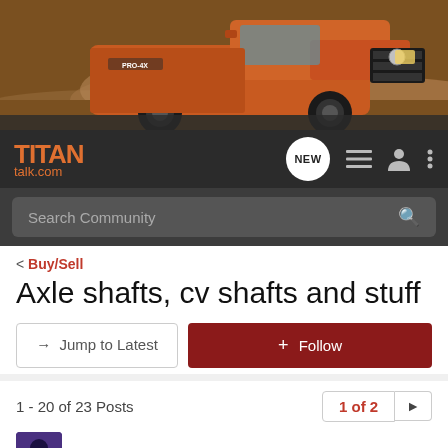[Figure (photo): Nissan Titan truck driving on dirt road, orange/brown color against dusty terrain background]
TITAN talk.com
Search Community
< Buy/Sell
Axle shafts, cv shafts and stuff
→ Jump to Latest
+ Follow
1 - 20 of 23 Posts
1 of 2
04BlackTitanLE · Registered